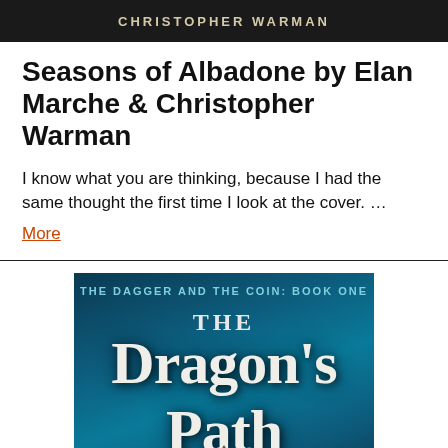[Figure (photo): Top banner with dark background showing author name CHRISTOPHER WARMAN in spaced uppercase letters]
Seasons of Albadone by Elan Marche & Christopher Warman
I know what you are thinking, because I had the same thought the first time I look at the cover. …
More
[Figure (photo): Book cover for 'The Dragon's Path' (The Dagger and the Coin: Book One) with teal/dark blue background, showing large title text in silver/white serif font with a small dark dragon figure at the bottom center]